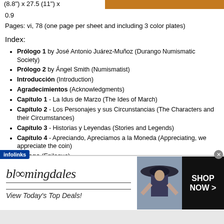(8.8") x 27.5 (11") x 0.9
Pages: vi, 78 (one page per sheet and including 3 color plates)
Index:
Prólogo 1 by José Antonio Juárez-Muñoz (Durango Numismatic Society)
Prólogo 2 by Ángel Smith (Numismatist)
Introducción (Introduction)
Agradecimientos (Acknowledgments)
Capítulo 1 - La Idus de Marzo (The Ides of March)
Capítulo 2 - Los Personajes y sus Circunstancias (The Characters and their Circumstances)
Capítulo 3 - Historias y Leyendas (Stories and Legends)
Capítulo 4 - Apreciando, Apreciamos a la Moneda (Appreciating, we appreciate the coin)
Epílogo (Epilogue)
Bibliografía (29 books/catalogs/publications)
[Figure (infographic): Bloomingdales advertisement with woman in hat, Shop Now button, and View Today's Top Deals text]